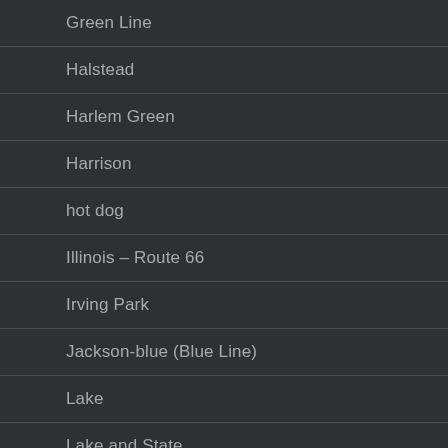Green Line
Halstead
Harlem Green
Harrison
hot dog
Illinois – Route 66
Irving Park
Jackson-blue (Blue Line)
Lake
Lake and State
Lasalle (Blue Line)